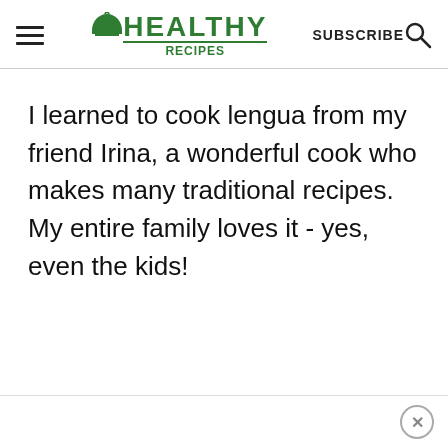HEALTHY RECIPES | SUBSCRIBE
I learned to cook lengua from my friend Irina, a wonderful cook who makes many traditional recipes. My entire family loves it - yes, even the kids!